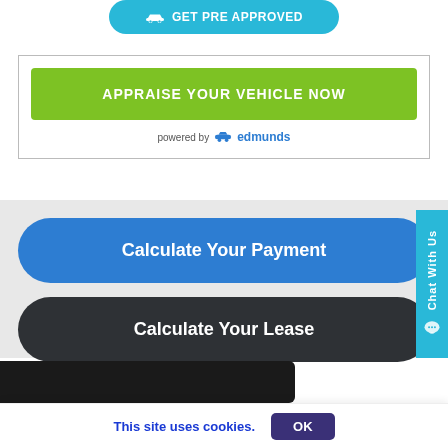[Figure (screenshot): GET PRE APPROVED teal rounded button with car icon]
[Figure (screenshot): APPRAISE YOUR VEHICLE NOW green button, powered by edmunds logo]
Calculate Your Payment
Calculate Your Lease
Free, No-Obligation Information
Estimate Your Monthly Payment
Get the Value of Your Trade-In
Chat With Us
This site uses cookies.
OK